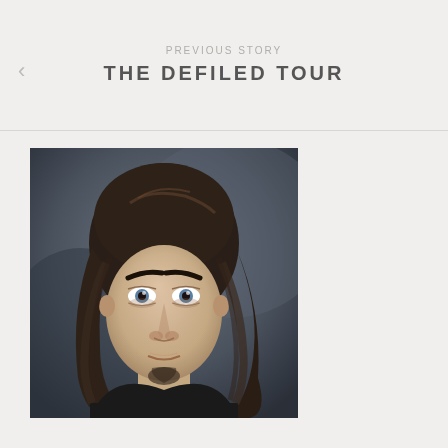PREVIOUS STORY
THE DEFILED TOUR
[Figure (photo): Portrait photograph of a young man with long dark brown hair falling past his shoulders, blue eyes, light skin, and a small goatee, wearing a black t-shirt, against a dark blue-grey background. Close-up headshot style.]